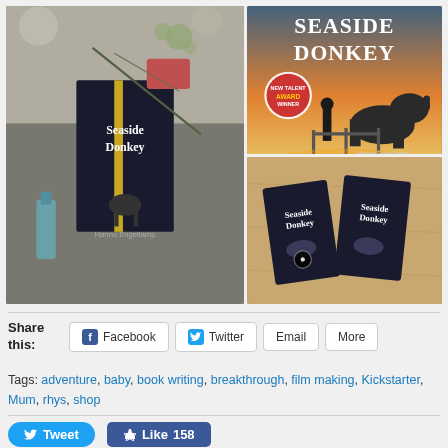[Figure (photo): Three photos showing Seaside Donkey book and DVD products. Left: wrapped book with ribbon, Right top: Seaside Donkey book cover with award winner sticker, Right bottom: Two Seaside Donkey DVDs on a table]
Share this:
Facebook  Twitter  Email  More
Tags: adventure, baby, book writing, breakthrough, film making, Kickstarter, Mum, rhys, shop
Tweet  Like 158